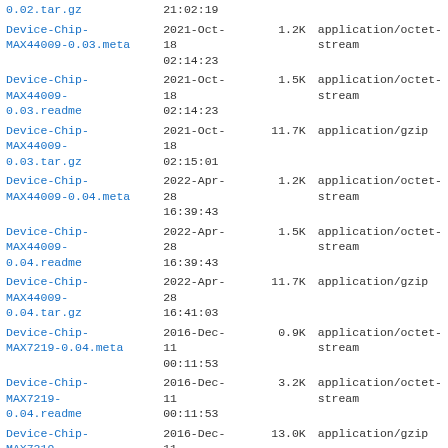| Name | Date | Size | Type |
| --- | --- | --- | --- |
| 0.02.tar.gz | 21:02:19 |  |  |
| Device-Chip-MAX44009-0.03.meta | 2021-Oct-18 02:14:23 | 1.2K | application/octet-stream |
| Device-Chip-MAX44009-0.03.readme | 2021-Oct-18 02:14:23 | 1.5K | application/octet-stream |
| Device-Chip-MAX44009-0.03.tar.gz | 2021-Oct-18 02:15:01 | 11.7K | application/gzip |
| Device-Chip-MAX44009-0.04.meta | 2022-Apr-28 16:39:43 | 1.2K | application/octet-stream |
| Device-Chip-MAX44009-0.04.readme | 2022-Apr-28 16:39:43 | 1.5K | application/octet-stream |
| Device-Chip-MAX44009-0.04.tar.gz | 2022-Apr-28 16:41:03 | 11.7K | application/gzip |
| Device-Chip-MAX7219-0.04.meta | 2016-Dec-11 00:11:53 | 0.9K | application/octet-stream |
| Device-Chip-MAX7219-0.04.readme | 2016-Dec-11 00:11:53 | 3.2K | application/octet-stream |
| Device-Chip-MAX7219-0.04.tar.gz | 2016-Dec-11 00:13:27 | 13.0K | application/gzip |
| Device-Chip-MAX7219-0.05.meta | 2020-Dec-06 18:44:08 | 1.1K | application/octet-stream |
| Device-Chip- | 2020-Dec- |  | application/octet- |